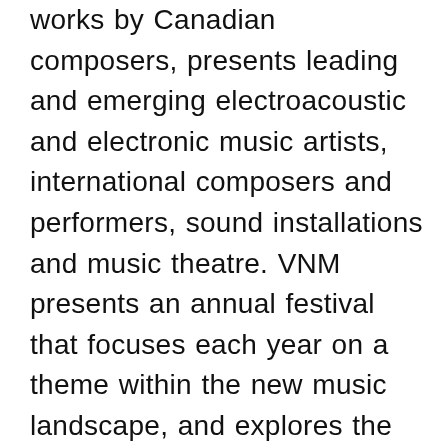works by Canadian composers, presents leading and emerging electroacoustic and electronic music artists, international composers and performers, sound installations and music theatre. VNM presents an annual festival that focuses each year on a theme within the new music landscape, and explores the interaction of contemporary music with other disciplines such as theatre, installation and media arts. Other activities include lectures and workshops with visiting artists, ensemble workshops and